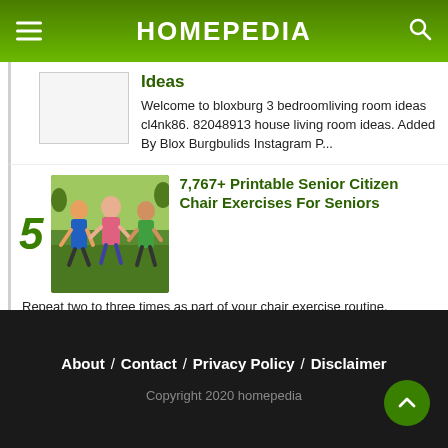HOMEPEDIA
Ideas
Welcome to bloxburg 3 bedroomliving room ideas cl4nk86. 82048913 house living room ideas. Added By Blox Burgbulids Instagram P...
5 7,767+ Printable Senior Citizen Chair Exercises For Seniors
Repeat two to three times as part of your chair exercise routine. Exercise plan for seniors. 12 Best Leg Exercises For Seniors...
About / Contact / Privacy Policy / Disclaimer
Copyright 2020 homepedia